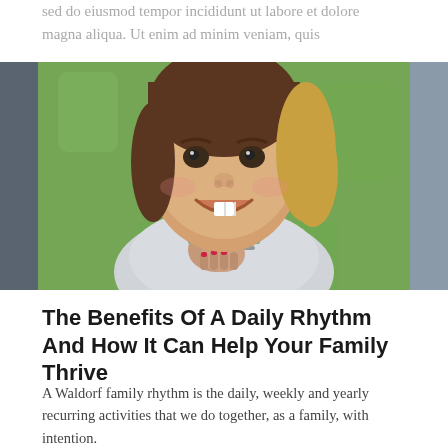sed do eiusmod tempor incididunt ut labore et dolore magna aliqua. Ut enim ad minim veniam, quis
[Figure (photo): A smiling young girl with brown and blonde hair lying on grass, wearing a light grey hoodie with green striped scarf or collar, looking up at the camera]
The Benefits Of A Daily Rhythm And How It Can Help Your Family Thrive
A Waldorf family rhythm is the daily, weekly and yearly recurring activities that we do together, as a family, with intention.